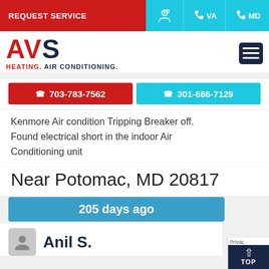REQUEST SERVICE  VA  MD
[Figure (logo): AVS Heating. Air Conditioning. company logo with red and navy blue branding]
703-783-7562  301-686-7129
Kenmore Air condition Tripping Breaker off. Found electrical short in the indoor Air Conditioning unit
Near Potomac, MD 20817
205 days ago
Anil S.